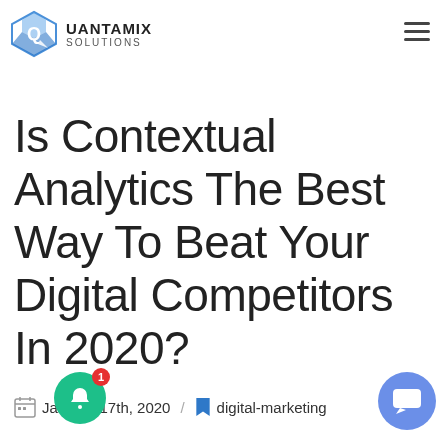[Figure (logo): Quantamix Solutions logo: blue geometric diamond/Q icon with company name QUANTAMIX SOLUTIONS]
Is Contextual Analytics The Best Way To Beat Your Digital Competitors In 2020?
January 17th, 2020  /  digital-marketing